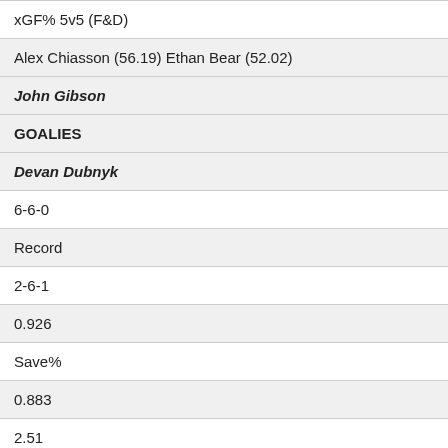| xGF% 5v5 (F&D) |
| Alex Chiasson (56.19) Ethan Bear (52.02) |
| John Gibson |
| GOALIES |
| Devan Dubnyk |
| 6-6-0 |
| Record |
| 2-6-1 |
| 0.926 |
| Save% |
| 0.883 |
| 2.51 |
| GAA |